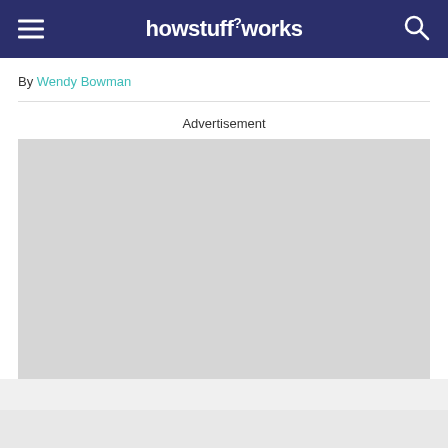howstuffworks
By Wendy Bowman
Advertisement
[Figure (other): Grey advertisement placeholder box]